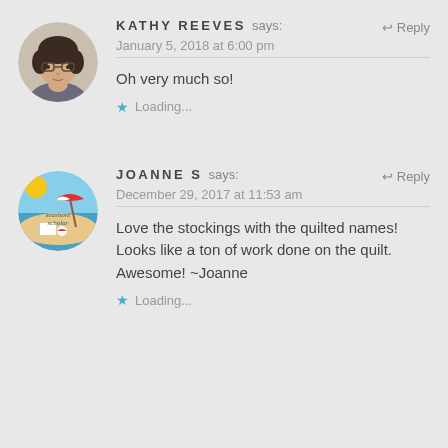[Figure (photo): Circular avatar photo of a woman with short dark hair and glasses]
KATHY REEVES says:
↩ Reply
January 5, 2018 at 6:00 pm
Oh very much so!
★ Loading...
[Figure (illustration): Circular logo for 'seashore scholar' showing a beach scene with sun, umbrella, water, and books]
JOANNE S says:
↩ Reply
December 29, 2017 at 11:53 am
Love the stockings with the quilted names! Looks like a ton of work done on the quilt. Awesome! ~Joanne
★ Loading...